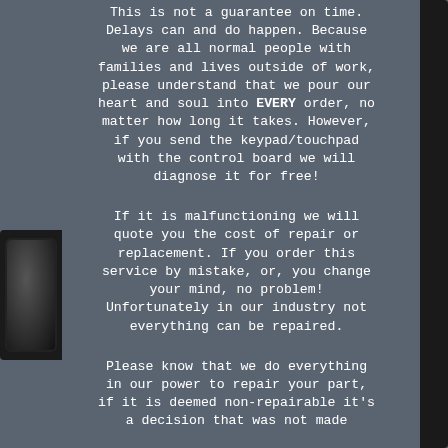This is not a guarantee on time. Delays can and do happen. Because we are all normal people with families and lives outside of work, please understand that we pour our heart and soul into EVERY order, no matter how long it takes. However, if you send the keypad/touchpad with the control board we will diagnose it for free!
If it is malfunctioning we will quote you the cost of repair or replacement. If you order this service by mistake, or, you change your mind, no problem! Unfortunately in our industry not everything can be repaired.
Please know that we do everything in our power to repair your part, if it is deemed non-repairable it's a decision that was not made